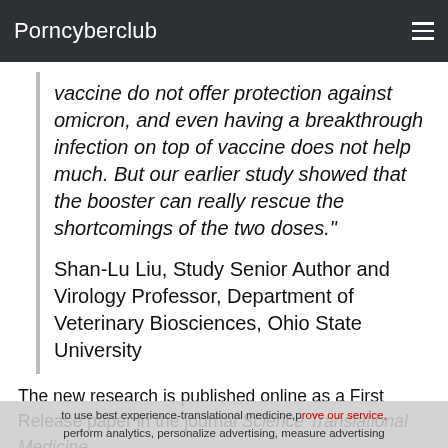Porncyberclub
vaccine do not offer protection against omicron, and even having a breakthrough infection on top of vaccine does not help much. But our earlier study showed that the booster can really rescue the shortcomings of the two doses."
Shan-Lu Liu, Study Senior Author and Virology Professor, Department of Veterinary Biosciences, Ohio State University
The new research is published online as a First Release paper in the journal Science Translational Medicine.
The researchers examined antibodies in serum samples from 48 health care professionals with experimental versions of the parent virus and the alpha, beta, delta and omicron variants